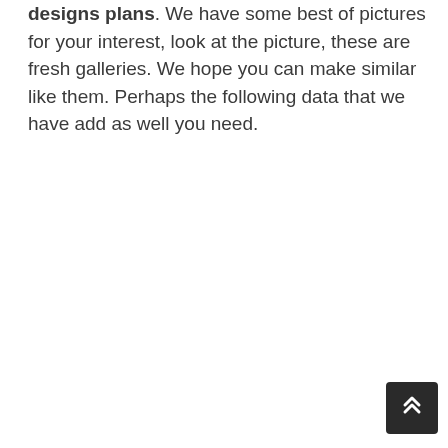designs plans. We have some best of pictures for your interest, look at the picture, these are fresh galleries. We hope you can make similar like them. Perhaps the following data that we have add as well you need.